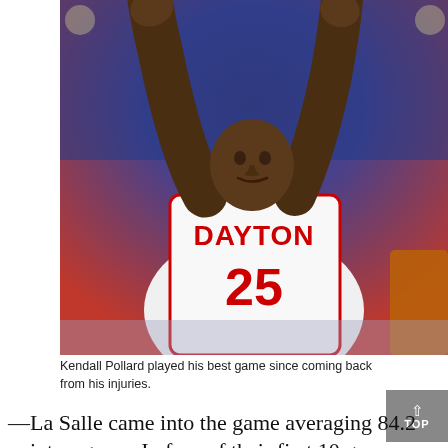[Figure (photo): Basketball player wearing a Dayton #25 white jersey shooting or dunking, arms raised above head, photographed from below against a crowd background]
Kendall Pollard played his best game since coming back from his injuries.
—La Salle came into the game averaging 84.2 points a game. In four of their first 10 games they scored 90